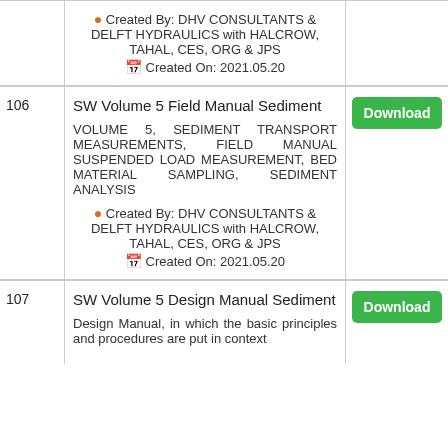| # | Content | Action |
| --- | --- | --- |
|  | Created By: DHV CONSULTANTS & DELFT HYDRAULICS with HALCROW, TAHAL, CES, ORG & JPS
Created On: 2021.05.20 |  |
| 106 | SW Volume 5 Field Manual Sediment
VOLUME 5, SEDIMENT TRANSPORT MEASUREMENTS, FIELD MANUAL SUSPENDED LOAD MEASUREMENT, BED MATERIAL SAMPLING, SEDIMENT ANALYSIS
Created By: DHV CONSULTANTS & DELFT HYDRAULICS with HALCROW, TAHAL, CES, ORG & JPS
Created On: 2021.05.20 | Download |
| 107 | SW Volume 5 Design Manual Sediment
Design Manual, in which the basic principles and procedures are put in context | Download |